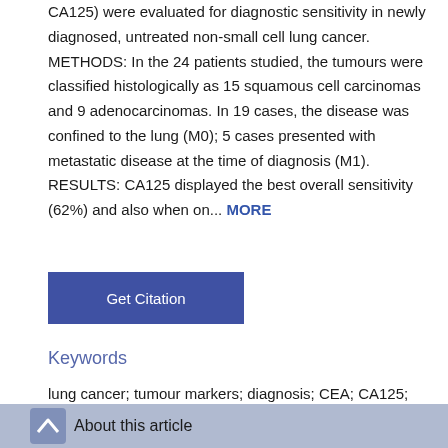CA125) were evaluated for diagnostic sensitivity in newly diagnosed, untreated non-small cell lung cancer. METHODS: In the 24 patients studied, the tumours were classified histologically as 15 squamous cell carcinomas and 9 adenocarcinomas. In 19 cases, the disease was confined to the lung (M0); 5 cases presented with metastatic disease at the time of diagnosis (M1). RESULTS: CA125 displayed the best overall sensitivity (62%) and also when on... MORE
Get Citation
Keywords
lung cancer; tumour markers; diagnosis; CEA; CA125; CYFRA 21.1
About this article